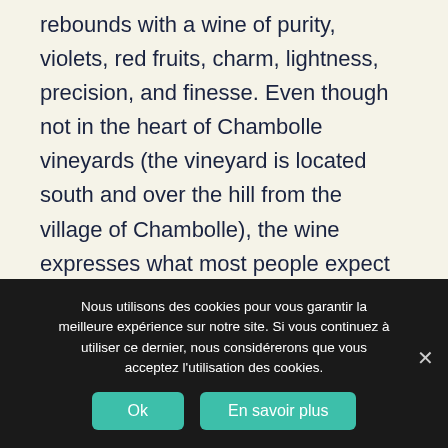rebounds with a wine of purity, violets, red fruits, charm, lightness, precision, and finesse. Even though not in the heart of Chambolle vineyards (the vineyard is located south and over the hill from the village of Chambolle), the wine expresses what most people expect of the village's wines. » note : (90-92)
Vosne-Romanée 2017 : « Les Barreaux is a village lieu-dit that sits immediately above Richebourg, Gros-Parentoux, and Brûlées, and
Nous utilisons des cookies pour vous garantir la meilleure expérience sur notre site. Si vous continuez à utiliser ce dernier, nous considérerons que vous acceptez l'utilisation des cookies.